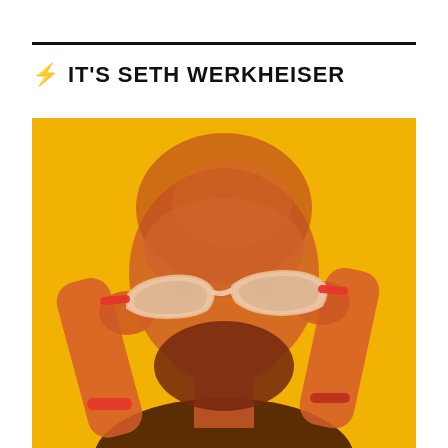⚡ IT'S SETH WERKHEISER
[Figure (photo): Color-tinted photo of Seth Werkheiser, a bearded man with a shaved head, holding up large white and red cat-eye glasses in front of his face against a bright yellow background. His hands hold the glasses from both sides, and he wears a red bracelet on his left wrist. The image has a warm yellow/orange duotone filter applied.]